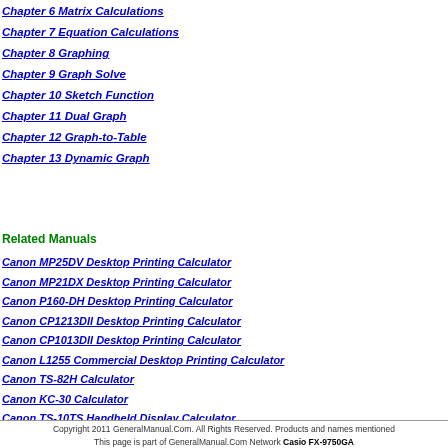Chapter 6 Matrix Calculations
Chapter 7 Equation Calculations
Chapter 8 Graphing
Chapter 9 Graph Solve
Chapter 10 Sketch Function
Chapter 11 Dual Graph
Chapter 12 Graph-to-Table
Chapter 13 Dynamic Graph
Related Manuals
Canon MP25DV Desktop Printing Calculator
Canon MP21DX Desktop Printing Calculator
Canon P160-DH Desktop Printing Calculator
Canon CP1213DII Desktop Printing Calculator
Canon CP1013DII Desktop Printing Calculator
Canon L1255 Commercial Desktop Printing Calculator
Canon TS-82H Calculator
Canon KC-30 Calculator
Canon TS-10TS Handheld Display Calculator
Canon TS-83H Calculator
Canon F-766S Scientific Calculator
Canon F-716S Scientific Calculator
Copyright 2011 GeneralManual.Com. All Rights Reserved. Products and names mentioned This page is part of GeneralManual.Com Network Casio FX-9750GA